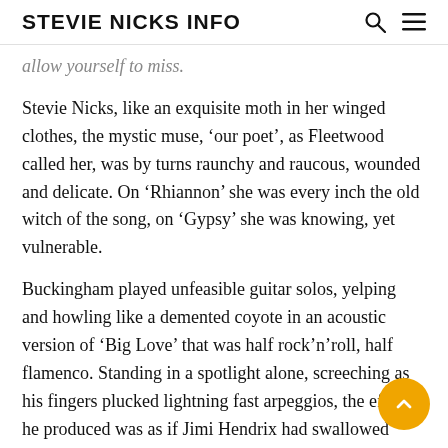STEVIE NICKS INFO
allow yourself to miss.
Stevie Nicks, like an exquisite moth in her winged clothes, the mystic muse, ‘our poet’, as Fleetwood called her, was by turns raunchy and raucous, wounded and delicate. On ‘Rhiannon’ she was every inch the old witch of the song, on ‘Gypsy’ she was knowing, yet vulnerable.
Buckingham played unfeasible guitar solos, yelping and howling like a demented coyote in an acoustic version of ‘Big Love’ that was half rock’n’roll, half flamenco. Standing in a spotlight alone, screeching as his fingers plucked lightning fast arpeggios, the effect he produced was as if Jimi Hendrix had swallowed Joaquin Rodrigo. It was unutterably thrilling, and worked on a de… level, by which I mean that as well as making a